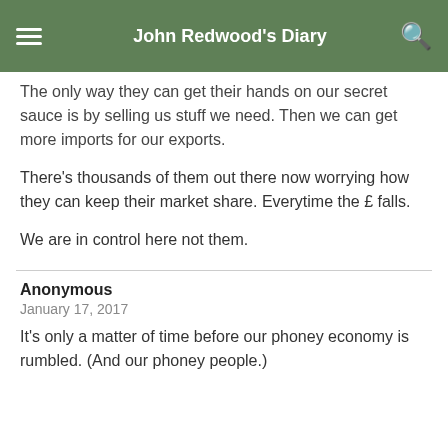John Redwood's Diary
The only way they can get their hands on our secret sauce is by selling us stuff we need. Then we can get more imports for our exports.
There's thousands of them out there now worrying how they can keep their market share. Everytime the £ falls.
We are in control here not them.
Anonymous
January 17, 2017
It's only a matter of time before our phoney economy is rumbled. (And our phoney people.)